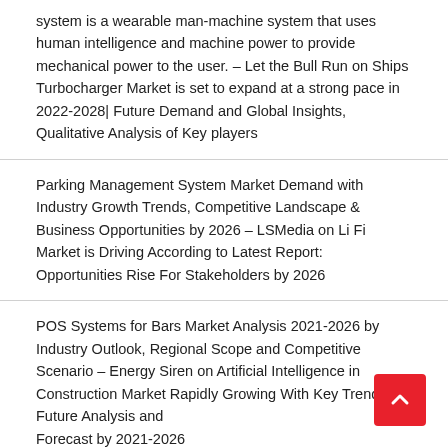system is a wearable man-machine system that uses human intelligence and machine power to provide mechanical power to the user. – Let the Bull Run on Ships Turbocharger Market is set to expand at a strong pace in 2022-2028| Future Demand and Global Insights, Qualitative Analysis of Key players
Parking Management System Market Demand with Industry Growth Trends, Competitive Landscape & Business Opportunities by 2026 – LSMedia on Li Fi Market is Driving According to Latest Report: Opportunities Rise For Stakeholders by 2026
POS Systems for Bars Market Analysis 2021-2026 by Industry Outlook, Regional Scope and Competitive Scenario – Energy Siren on Artificial Intelligence in Construction Market Rapidly Growing With Key Trends, Future Analysis and Forecast by 2021-2026